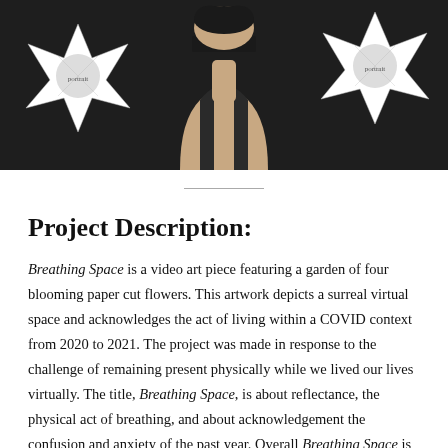[Figure (photo): A person in a black tank top with eyes obscured by a black bar, surrounded by paper snowflake/star ornaments with portraits, on a dark fur background.]
Project Description:
Breathing Space is a video art piece featuring a garden of four blooming paper cut flowers. This artwork depicts a surreal virtual space and acknowledges the act of living within a COVID context from 2020 to 2021. The project was made in response to the challenge of remaining present physically while we lived our lives virtually. The title, Breathing Space, is about reflectance, the physical act of breathing, and about acknowledgement the confusion and anxiety of the past year. Overall Breathing Space is a project whose process and